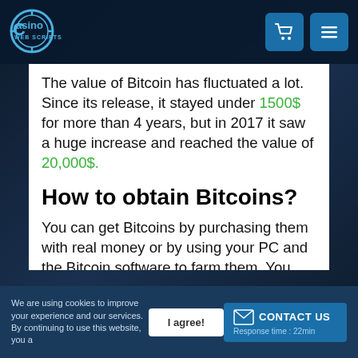[Figure (logo): Casino Web Scripts logo with shopping cart and hamburger menu icons in top navigation bar]
The value of Bitcoin has fluctuated a lot. Since its release, it stayed under 1500$ for more than 4 years, but in 2017 it saw a huge increase and reached the value of 20,000$.
How to obtain Bitcoins?
You can get Bitcoins by purchasing them with real money or by using your PC and the Bitcoin software to farm them. You can also trade Bitcoins for real money
We are using cookies to improve your experience and our services. By continuing to use this website, you agree | I agree! | CONTACT US Response time : 22min